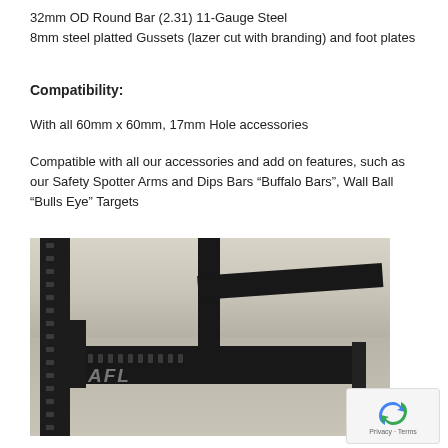32mm OD Round Bar (2.31) 11-Gauge Steel
8mm steel platted Gussets (lazer cut with branding) and foot plates
Compatibility:
With all 60mm x 60mm, 17mm Hole accessories
Compatible with all our accessories and add on features, such as our Safety Spotter Arms and Dips Bars “Buffalo Bars”, Wall Ball “Bulls Eye” Targets
[Figure (photo): Photo of a black steel power rack/squat rack with safety spotter arms attached, branded with AFL logo, photographed outdoors on a concrete surface]
[Figure (logo): Google reCAPTCHA widget showing the reCAPTCHA icon with Privacy and Terms links]